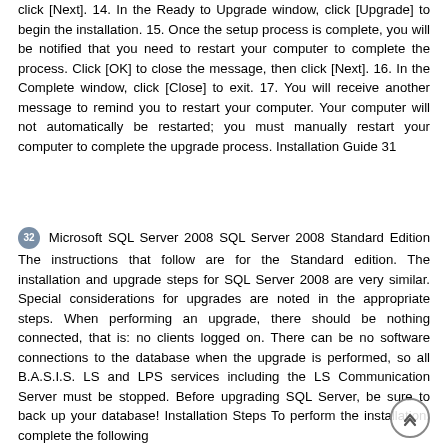click [Next]. 14. In the Ready to Upgrade window, click [Upgrade] to begin the installation. 15. Once the setup process is complete, you will be notified that you need to restart your computer to complete the process. Click [OK] to close the message, then click [Next]. 16. In the Complete window, click [Close] to exit. 17. You will receive another message to remind you to restart your computer. Your computer will not automatically be restarted; you must manually restart your computer to complete the upgrade process. Installation Guide 31
32 Microsoft SQL Server 2008 SQL Server 2008 Standard Edition The instructions that follow are for the Standard edition. The installation and upgrade steps for SQL Server 2008 are very similar. Special considerations for upgrades are noted in the appropriate steps. When performing an upgrade, there should be nothing connected, that is: no clients logged on. There can be no software connections to the database when the upgrade is performed, so all B.A.S.I.S. LS and LPS services including the LS Communication Server must be stopped. Before upgrading SQL Server, be sure to back up your database! Installation Steps To perform the installation, complete the following